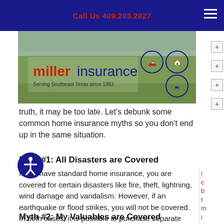Call Us 409.203.2027
[Figure (logo): Miller Insurance logo with green outdoor background and circular icons for car, home, and motorcycle. Text reads 'millerinsurance' and 'Serving Southeast Texas since 1983']
truth, it may be too late. Let's debunk some common home insurance myths so you don't end up in the same situation.
Myth #1: All Disasters are Covered
If you have standard home insurance, you are covered for certain disasters like fire, theft, lightning, wind damage and vandalism. However, if an earthquake or flood strikes, you will not be covered. In both cases, it is possible to purchase separate coverage or policy riders for these disasters. Therefore, if you are concerned about future flood damage or earthquake damage, you should consider purchasing additional coverage.
Myth #2: My Valuables are Covered